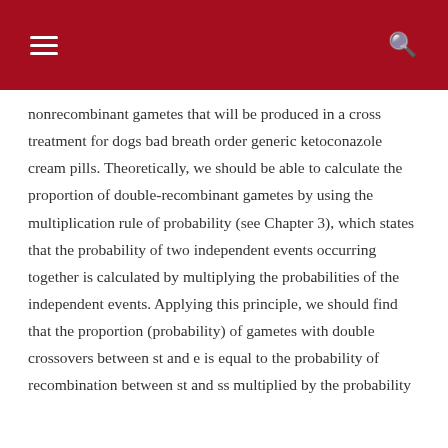nonrecombinant gametes that will be produced in a cross treatment for dogs bad breath order generic ketoconazole cream pills. Theoretically, we should be able to calculate the proportion of double-recombinant gametes by using the multiplication rule of probability (see Chapter 3), which states that the probability of two independent events occurring together is calculated by multiplying the probabilities of the independent events. Applying this principle, we should find that the proportion (probability) of gametes with double crossovers between st and e is equal to the probability of recombination between st and ss multiplied by the probability